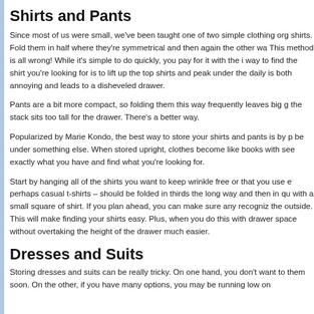Shirts and Pants
Since most of us were small, we've been taught one of two simple clothing org shirts. Fold them in half where they're symmetrical and then again the other wa This method is all wrong! While it's simple to do quickly, you pay for it with the way to find the shirt you're looking for is to lift up the top shirts and peak under the daily is both annoying and leads to a disheveled drawer.
Pants are a bit more compact, so folding them this way frequently leaves big g the stack sits too tall for the drawer. There's a better way.
Popularized by Marie Kondo, the best way to store your shirts and pants is by be under something else. When stored upright, clothes become like books with see exactly what you have and find what you're looking for.
Start by hanging all of the shirts you want to keep wrinkle free or that you use perhaps casual t-shirts – should be folded in thirds the long way and then in qu with a small square of shirt. If you plan ahead, you can make sure any recogni the outside. This will make finding your shirts easy. Plus, when you do this with drawer space without overtaking the height of the drawer much easier.
Dresses and Suits
Storing dresses and suits can be really tricky. On one hand, you don't want to them soon. On the other, if you have many options, you may be running low on